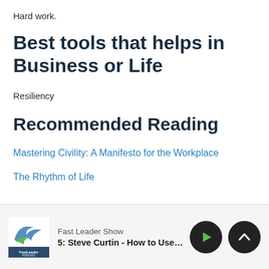Hard work.
Best tools that helps in Business or Life
Resiliency
Recommended Reading
Mastering Civility: A Manifesto for the Workplace
The Rhythm of Life
Fast Leader Show | 5: Steve Curtin - How to Use Purpose